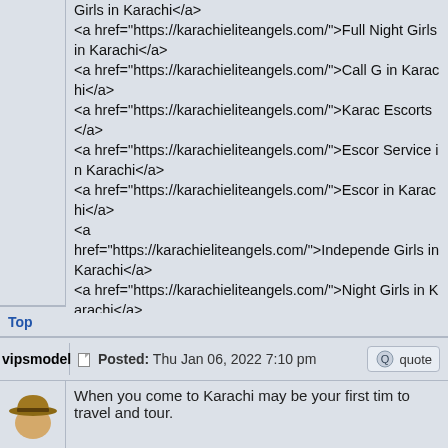Girls in Karachi</a>
<a href="https://karachieliteangels.com/">Full Night Girls in Karachi</a>
<a href="https://karachieliteangels.com/">Call G in Karachi</a>
<a href="https://karachieliteangels.com/">Karac Escorts</a>
<a href="https://karachieliteangels.com/">Escor Service in Karachi</a>
<a href="https://karachieliteangels.com/">Escor in Karachi</a>
<a href="https://karachieliteangels.com/">Independe Girls in Karachi</a>
<a href="https://karachieliteangels.com/">Night Girls in Karachi</a>
<a href="https://karachieliteangels.com/">Full Night Girls in Karachi</a>
Top
vipsmodel  |  Posted: Thu Jan 06, 2022 7:10 pm  |  quote
When you come to Karachi may be your first tim to travel and tour.